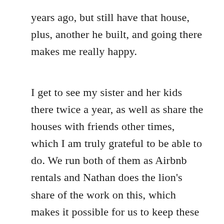years ago, but still have that house, plus, another he built, and going there makes me really happy.
I get to see my sister and her kids there twice a year, as well as share the houses with friends other times, which I am truly grateful to be able to do. We run both of them as Airbnb rentals and Nathan does the lion's share of the work on this, which makes it possible for us to keep these special places for our family.